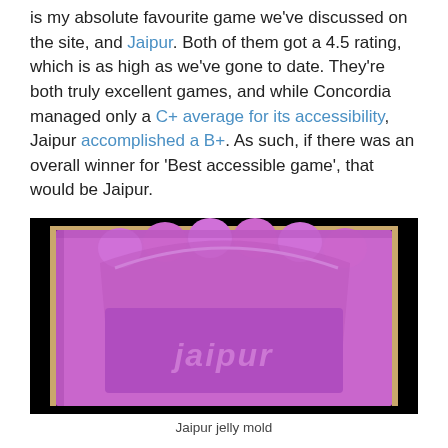is my absolute favourite game we've discussed on the site, and Jaipur. Both of them got a 4.5 rating, which is as high as we've gone to date. They're both truly excellent games, and while Concordia managed only a C+ average for its accessibility, Jaipur accomplished a B+. As such, if there was an overall winner for 'Best accessible game', that would be Jaipur.
[Figure (photo): Photo of a purple/pink silicone Jaipur board game insert mold with the word 'jaipur' embossed on the bottom, shown inside a cardboard box, viewed from above at an angle, against a black background.]
Jaipur jelly mold